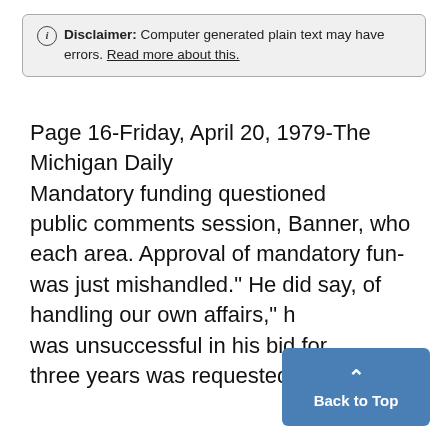ⓘ Disclaimer: Computer generated plain text may have errors. Read more about this.
Page 16-Friday, April 20, 1979-The Michigan Daily
Mandatory funding questioned public comments session, Banner, who each area. Approval of mandatory fun- was just mishandled." He did say, of handling our own affairs," h was unsuccessful in his bid for three years was requested, but
Back to Top